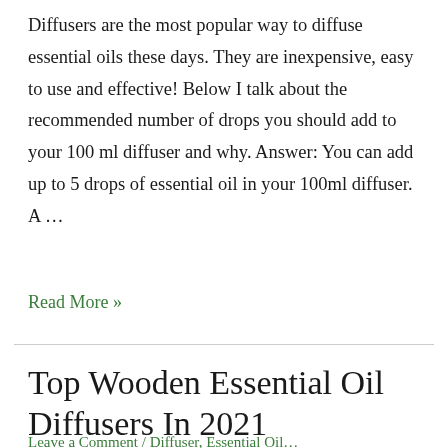Diffusers are the most popular way to diffuse essential oils these days. They are inexpensive, easy to use and effective! Below I talk about the recommended number of drops you should add to your 100 ml diffuser and why. Answer: You can add up to 5 drops of essential oil in your 100ml diffuser. A …
Read More »
Top Wooden Essential Oil Diffusers In 2021
Leave a Comment / Diffuser, Essential Oils…